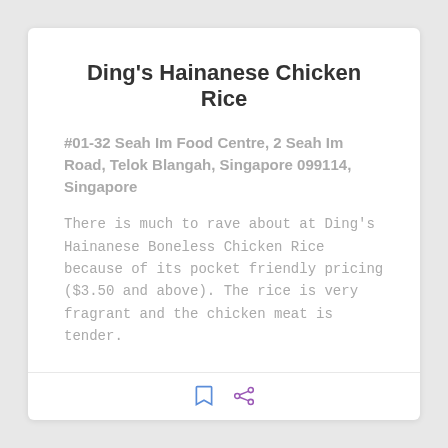Ding's Hainanese Chicken Rice
#01-32 Seah Im Food Centre, 2 Seah Im Road, Telok Blangah, Singapore 099114, Singapore
There is much to rave about at Ding's Hainanese Boneless Chicken Rice because of its pocket friendly pricing ($3.50 and above). The rice is very fragrant and the chicken meat is tender.
[Figure (illustration): Bookmark icon and share icon in the card footer]